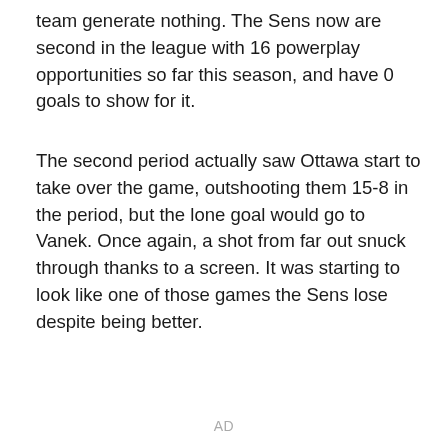team generate nothing. The Sens now are second in the league with 16 powerplay opportunities so far this season, and have 0 goals to show for it.
The second period actually saw Ottawa start to take over the game, outshooting them 15-8 in the period, but the lone goal would go to Vanek. Once again, a shot from far out snuck through thanks to a screen. It was starting to look like one of those games the Sens lose despite being better.
AD